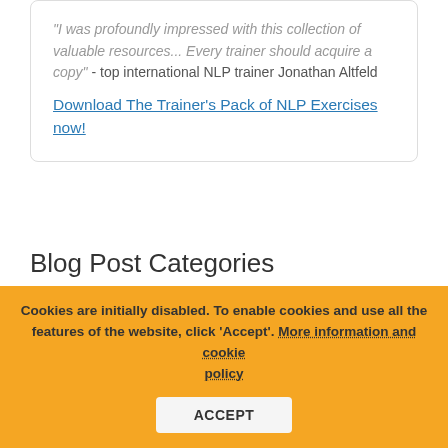"I was profoundly impressed with this collection of valuable resources... Every trainer should acquire a copy" - top international NLP trainer Jonathan Altfeld
Download The Trainer's Pack of NLP Exercises now!
Blog Post Categories
Cookies are initially disabled. To enable cookies and use all the features of the website, click 'Accept'. More information and cookie policy  ACCEPT